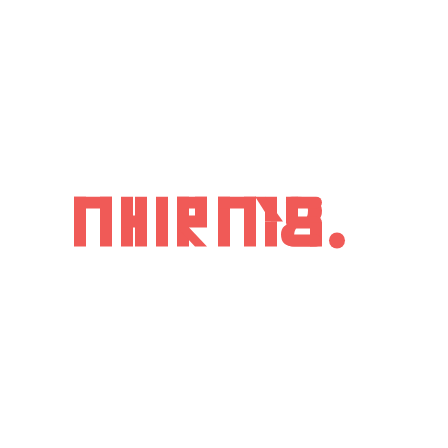[Figure (logo): A logo displayed in coral/salmon red color consisting of bold stylized letterforms on a white background. The text appears to read 'THIRTYS' or similar in a bold geometric sans-serif style, rendered in a coral-red color (#F05A57).]